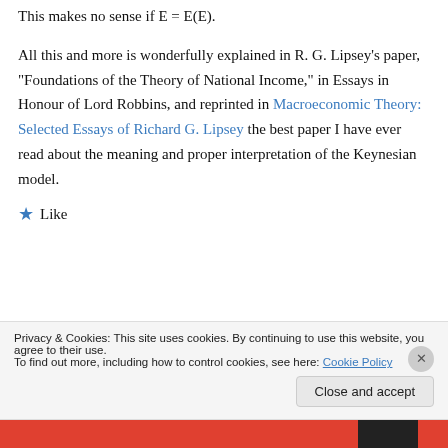This makes no sense if E = E(E).
All this and more is wonderfully explained in R. G. Lipsey’s paper, “Foundations of the Theory of National Income,” in Essays in Honour of Lord Robbins, and reprinted in Macroeconomic Theory: Selected Essays of Richard G. Lipsey the best paper I have ever read about the meaning and proper interpretation of the Keynesian model.
★ Like
Privacy & Cookies: This site uses cookies. By continuing to use this website, you agree to their use.
To find out more, including how to control cookies, see here: Cookie Policy
Close and accept